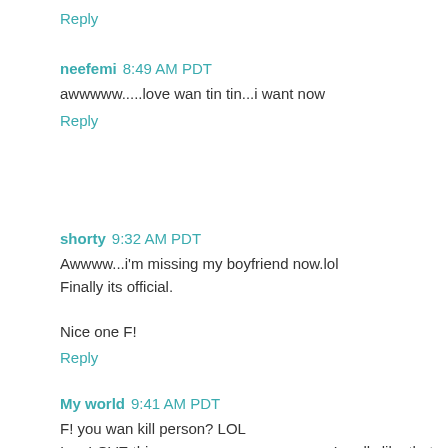Reply
neefemi 8:49 AM PDT
awwwww.....love wan tin tin...i want now
Reply
shorty 9:32 AM PDT
Awwww...i'm missing my boyfriend now.lol
Finally its official.

Nice one F!
Reply
My world 9:41 AM PDT
F! you wan kill person? LOL
I so LOVE this......awwwwwwwwwwwww,I really like that Iphey